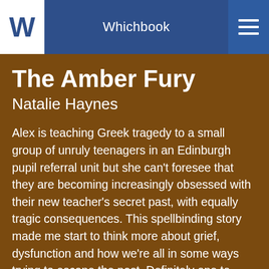Whichbook
The Amber Fury
Natalie Haynes
Alex is teaching Greek tragedy to a small group of unruly teenagers in an Edinburgh pupil referral unit but she can't foresee that they are becoming increasingly obsessed with their new teacher's secret past, with equally tragic consequences. This spellbinding story made me start to think more about grief, dysfunction and how we're all in some ways trying to escape the past. Definitely one to recommend.